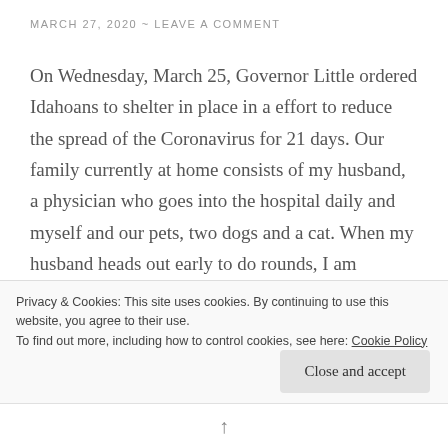MARCH 27, 2020 ~ LEAVE A COMMENT
On Wednesday, March 25, Governor Little ordered Idahoans to shelter in place in a effort to reduce the spread of the Coronavirus for 21 days. Our family currently at home consists of my husband, a physician who goes into the hospital daily and myself and our pets, two dogs and a cat. When my husband heads out early to do rounds, I am essentially sheltering alone. I have marked off my calendar with the days that the order holds. I'm treating it like an advent calendar. Assuming Idaho is
Privacy & Cookies: This site uses cookies. By continuing to use this website, you agree to their use.
To find out more, including how to control cookies, see here: Cookie Policy
Close and accept